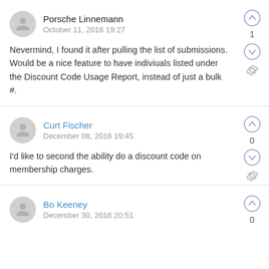Porsche Linnemann
October 11, 2016 19:27
Nevermind, I found it after pulling the list of submissions.  Would be a nice feature to have indiviuals listed under the Discount Code Usage Report, instead of just a bulk #.
Curt Fischer
December 08, 2016 19:45
I'd like to second the ability do a discount code on membership charges.
Bo Keeney
December 30, 2016 20:51